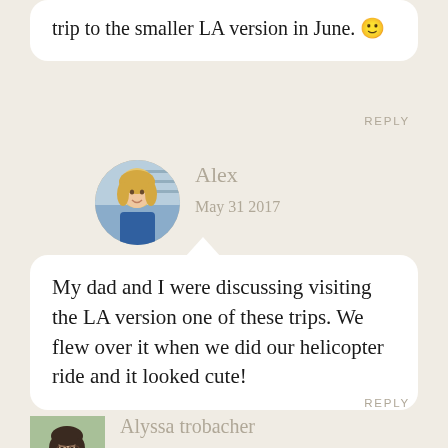trip to the smaller LA version in June. 🙂
REPLY
Alex
May 31 2017
[Figure (photo): Circular avatar photo of Alex, a blonde woman]
My dad and I were discussing visiting the LA version one of these trips. We flew over it when we did our helicopter ride and it looked cute!
REPLY
[Figure (photo): Square avatar photo of Alyssa trobacher, a dark-haired woman]
Alyssa trobacher
May 25 2017